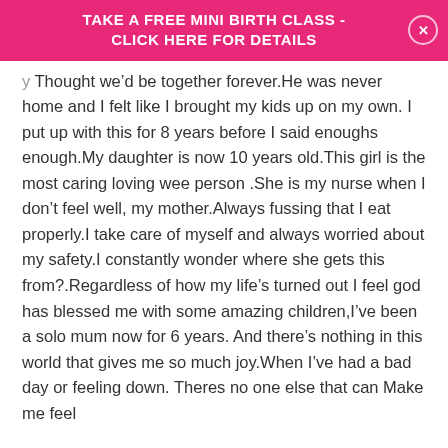TAKE A FREE MINI BIRTH CLASS - CLICK HERE FOR DETAILS
Thought we’d be together forever.He was never home and I felt like I brought my kids up on my own. I put up with this for 8 years before I said enoughs enough.My daughter is now 10 years old.This girl is the most caring loving wee person .She is my nurse when I don’t feel well, my mother.Always fussing that I eat properly.I take care of myself and always worried about my safety.I constantly wonder where she gets this from?.Regardless of how my life’s turned out I feel god has blessed me with some amazing children,I’ve been a solo mum now for 6 years. And there’s nothing in this world that gives me so much joy.When I’ve had a bad day or feeling down. Theres no one else that can Make me feel